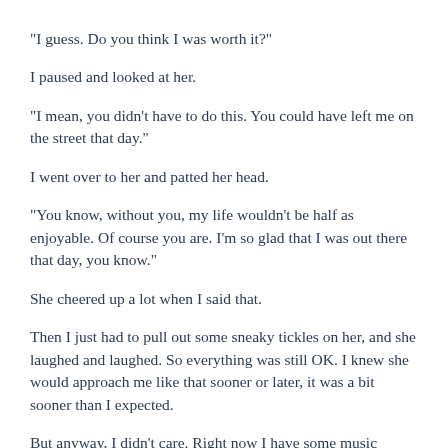"I guess. Do you think I was worth it?"
I paused and looked at her.
"I mean, you didn't have to do this. You could have left me on the street that day."
I went over to her and patted her head.
"You know, without you, my life wouldn't be half as enjoyable. Of course you are. I'm so glad that I was out there that day, you know."
She cheered up a lot when I said that.
Then I just had to pull out some sneaky tickles on her, and she laughed and laughed. So everything was still OK. I knew she would approach me like that sooner or later, it was a bit sooner than I expected.
But anyway, I didn't care. Right now I have some music playing, I'm watching some TV on my computer, and she's eating some fried chicken. Nope, she's not black